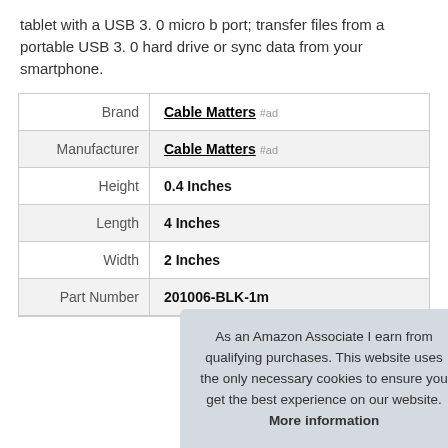tablet with a USB 3. 0 micro b port; transfer files from a portable USB 3. 0 hard drive or sync data from your smartphone.
|  |  |
| --- | --- |
| Brand | Cable Matters #ad |
| Manufacturer | Cable Matters #ad |
| Height | 0.4 Inches |
| Length | 4 Inches |
| Width | 2 Inches |
| Part Number | 201006-BLK-1m |
As an Amazon Associate I earn from qualifying purchases. This website uses the only necessary cookies to ensure you get the best experience on our website. More information